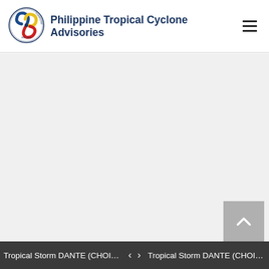[Figure (logo): Philippine Tropical Cyclone Advisories logo: circular emblem with a cyclone/typhoon symbol in blue, yellow and red, with text around the border]
Philippine Tropical Cyclone Advisories
[Figure (other): Gray content area (main body of the webpage, likely containing a map or advisory content that is not rendered)]
[Figure (other): Gray scroll-to-top button with an upward-pointing chevron/caret icon]
Tropical Storm DANTE (CHOI-WA... < > Tropical Storm DANTE (CHOI-WA...